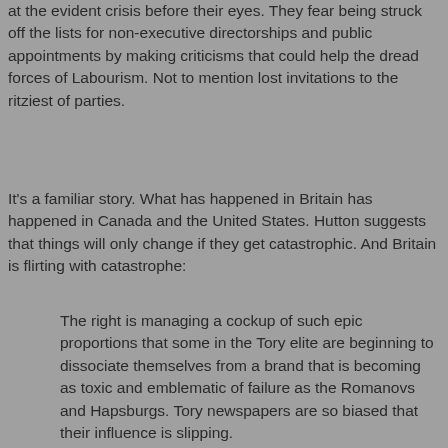at the evident crisis before their eyes. They fear being struck off the lists for non-executive directorships and public appointments by making criticisms that could help the dread forces of Labourism. Not to mention lost invitations to the ritziest of parties.
It's a familiar story. What has happened in Britain has happened in Canada and the United States. Hutton suggests that things will only change if they get catastrophic. And Britain is flirting with catastrophe:
The right is managing a cockup of such epic proportions that some in the Tory elite are beginning to dissociate themselves from a brand that is becoming as toxic and emblematic of failure as the Romanovs and Hapsburgs. Tory newspapers are so biased that their influence is slipping.